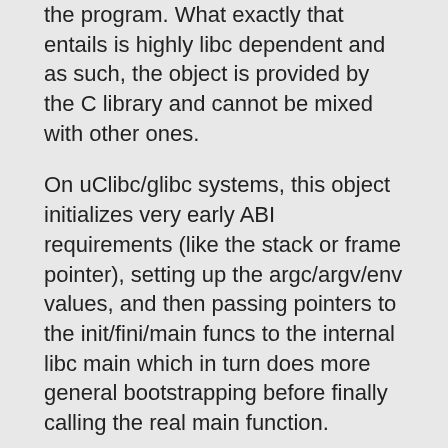the program. What exactly that entails is highly libc dependent and as such, the object is provided by the C library and cannot be mixed with other ones.
On uClibc/glibc systems, this object initializes very early ABI requirements (like the stack or frame pointer), setting up the argc/argv/env values, and then passing pointers to the init/fini/main funcs to the internal libc main which in turn does more general bootstrapping before finally calling the real main function.
glibc ports call this file 'start.S' while uClibc ports call this crt0.S or crt1.S (depending on what their gcc expects).
crti.o Defines the function prologs for